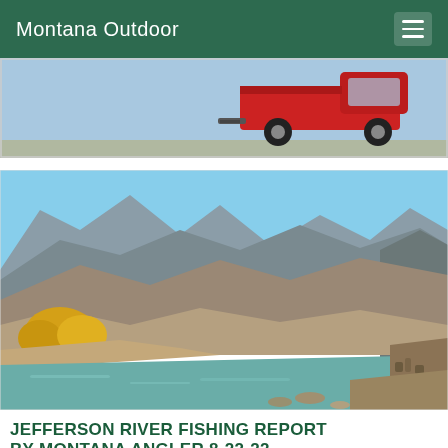Montana Outdoor
[Figure (photo): Advertisement banner showing a red pickup truck on a light blue background]
[Figure (photo): Outdoor river scene with turquoise water, rocky mountain terrain with arid slopes, yellow autumn foliage trees on the left bank, and dry brush on the right bank under a clear blue sky]
JEFFERSON RIVER FISHING REPORT BY MONTANA ANGLER 8-22-22